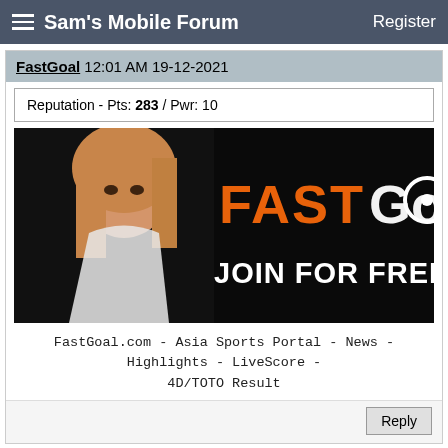Sam's Mobile Forum   Register
FastGoal 12:01 AM 19-12-2021
Reputation - Pts: 283 / Pwr: 10
[Figure (photo): FastGoal advertisement banner with woman and text FAST GOO JOIN FOR FREE NOW]
FastGoal.com - Asia Sports Portal - News - Highlights - LiveScore - 4D/TOTO Result
Reply
FastGoal 04:01 AM 19-12-2021
Reputation - Pts: 283 / Pwr: 10